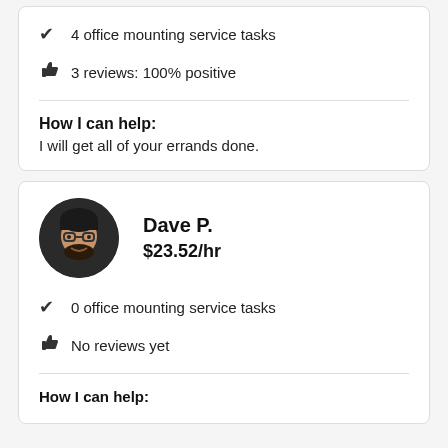4 office mounting service tasks
3 reviews: 100% positive
How I can help:
I will get all of your errands done.
[Figure (photo): Profile photo of Dave P., circular avatar, man with beard and glasses smiling]
Dave P.
$23.52/hr
0 office mounting service tasks
No reviews yet
How I can help: